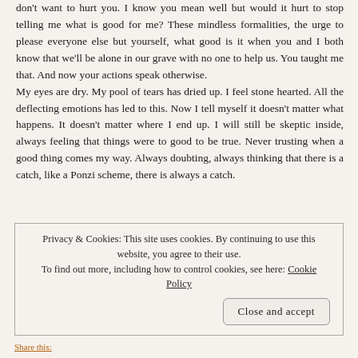don't want to hurt you. I know you mean well but would it hurt to stop telling me what is good for me? These mindless formalities, the urge to please everyone else but yourself, what good is it when you and I both know that we'll be alone in our grave with no one to help us. You taught me that. And now your actions speak otherwise.
My eyes are dry. My pool of tears has dried up. I feel stone hearted. All the deflecting emotions has led to this. Now I tell myself it doesn't matter what happens. It doesn't matter where I end up. I will still be skeptic inside, always feeling that things were to good to be true. Never trusting when a good thing comes my way. Always doubting, always thinking that there is a catch, like a Ponzi scheme, there is always a catch.
Privacy & Cookies: This site uses cookies. By continuing to use this website, you agree to their use. To find out more, including how to control cookies, see here: Cookie Policy
Share this: